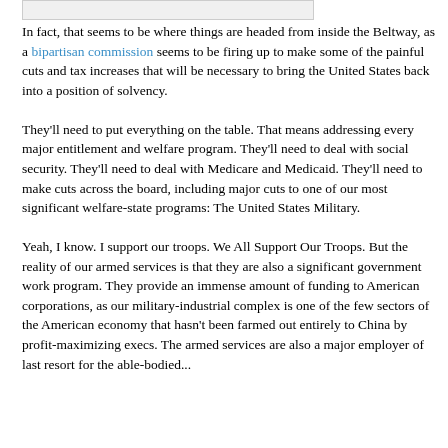[Figure (other): Image placeholder at top of page]
In fact, that seems to be where things are headed from inside the Beltway, as a bipartisan commission seems to be firing up to make some of the painful cuts and tax increases that will be necessary to bring the United States back into a position of solvency.

They'll need to put everything on the table. That means addressing every major entitlement and welfare program. They'll need to deal with social security. They'll need to deal with Medicare and Medicaid. They'll need to make cuts across the board, including major cuts to one of our most significant welfare-state programs: The United States Military.

Yeah, I know. I support our troops. We All Support Our Troops. But the reality of our armed services is that they are also a significant government work program. They provide an immense amount of funding to American corporations, as our military-industrial complex is one of the few sectors of the American economy that hasn't been farmed out entirely to China by profit-maximizing execs. The armed services are also a major employer of last resort for the able-bodied...